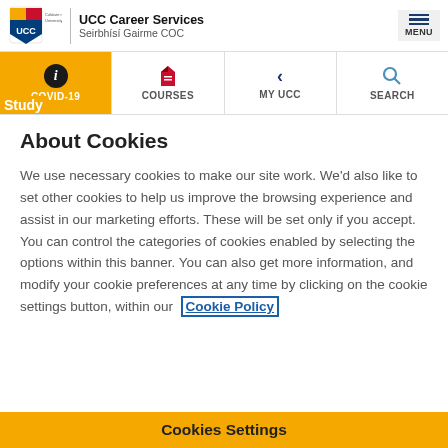UCC Career Services | Seirbhísí Gairme COC
[Figure (screenshot): UCC navigation bar with COVID-19, COURSES, MY UCC, SEARCH items]
About Cookies
We use necessary cookies to make our site work. We'd also like to set other cookies to help us improve the browsing experience and assist in our marketing efforts. These will be set only if you accept. You can control the categories of cookies enabled by selecting the options within this banner. You can also get more information, and modify your cookie preferences at any time by clicking on the cookie settings button, within our Cookie Policy
Cookies Settings